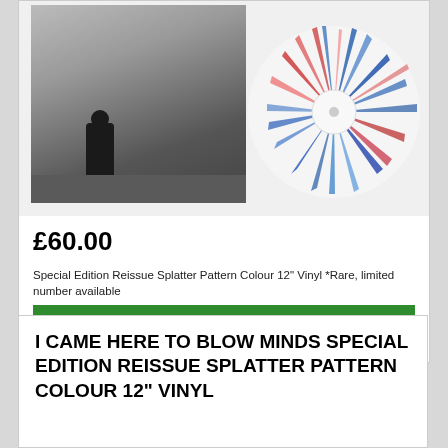[Figure (photo): Product listing card showing album cover art (black and white photo of a person standing against a wall) alongside a splatter pattern coloured vinyl record disc]
£60.00
Special Edition Reissue Splatter Pattern Colour 12" Vinyl *Rare, limited number available
AVAILABLE
I CAME HERE TO BLOW MINDS SPECIAL EDITION REISSUE SPLATTER PATTERN COLOUR 12" VINYL